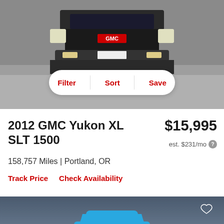[Figure (photo): Front-facing GMC SUV (Yukon) photographed on a gray asphalt background, partially cropped at the top]
Filter  Sort  Save
2012 GMC Yukon XL SLT 1500
$15,995
est. $231/mo
158,757 Miles | Portland, OR
Track Price   Check Availability
[Figure (illustration): Blue sedan car illustration (front view) on a dark blue-gray gradient background, with a heart/favorite icon in the upper right corner and a gray placeholder box at the bottom]